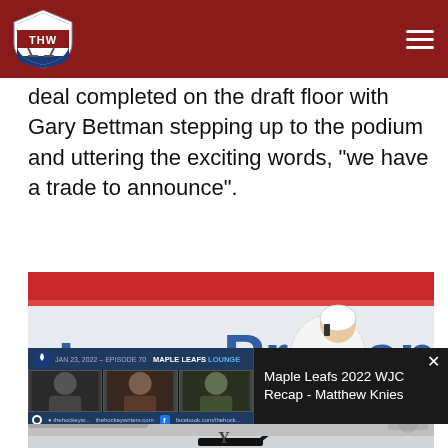THW - The Hockey Writers
deal completed on the draft floor with Gary Bettman stepping up to the podium and uttering the exciting words, “we have a trade to announce”.
[Figure (photo): Hockey player wearing Vancouver Canucks white jersey with 'A' (alternate captain) patch skating in front of arena boards showing 'abas' and 'Prudentia' advertising signage]
[Figure (screenshot): Video overlay showing Maple Leafs Lounge episode dated Jan 23, 2022, Episode 70, with three people visible in video thumbnails and social media links at bottom]
Maple Leafs 2022 WJC Recap - Matthew Knies
[Figure (photo): Partial bottom strip image, partially visible]